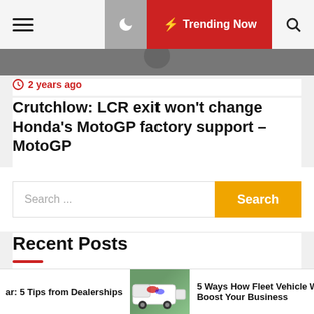Trending Now
2 years ago
Crutchlow: LCR exit won't change Honda's MotoGP factory support – MotoGP
Search ...
Recent Posts
Buying a Car: 5 Tips from Dealerships
ar: 5 Tips from Dealerships   5 Ways How Fleet Vehicle Wr Boost Your Business